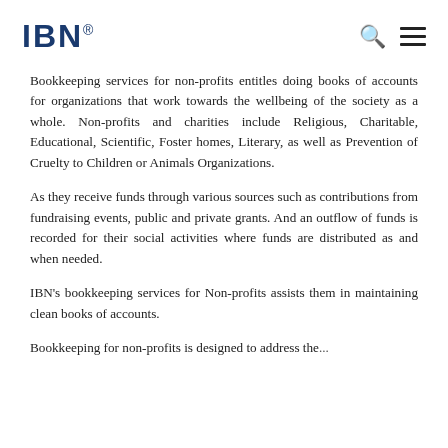IBN
Bookkeeping services for non-profits entitles doing books of accounts for organizations that work towards the wellbeing of the society as a whole. Non-profits and charities include Religious, Charitable, Educational, Scientific, Foster homes, Literary, as well as Prevention of Cruelty to Children or Animals Organizations.
As they receive funds through various sources such as contributions from fundraising events, public and private grants. And an outflow of funds is recorded for their social activities where funds are distributed as and when needed.
IBN's bookkeeping services for Non-profits assists them in maintaining clean books of accounts.
Bookkeeping for non-profits is designed to address the...